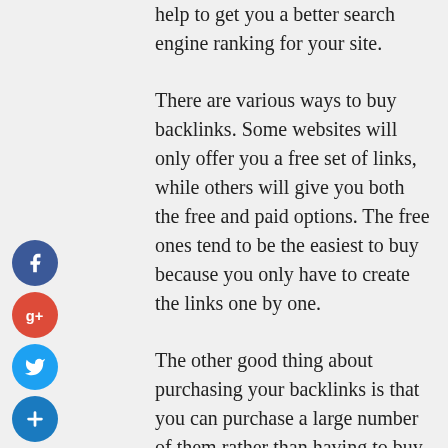help to get you a better search engine ranking for your site.
There are various ways to buy backlinks. Some websites will only offer you a free set of links, while others will give you both the free and paid options. The free ones tend to be the easiest to buy because you only have to create the links one by one.
The other good thing about purchasing your backlinks is that you can purchase a large number of them rather than having to buy them individually. This will cost you less than you would buy individual links, but it may take longer to get the job done.